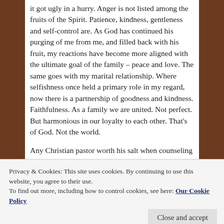it got ugly in a hurry. Anger is not listed among the fruits of the Spirit. Patience, kindness, gentleness and self-control are. As God has continued his purging of me from me, and filled back with his fruit, my reactions have become more aligned with the ultimate goal of the family – peace and love. The same goes with my marital relationship. Where selfishness once held a primary role in my regard, now there is a partnership of goodness and kindness. Faithfulness. As a family we are united. Not perfect. But harmonious in our loyalty to each other. That's of God. Not the world.
Any Christian pastor worth his salt when counseling
Privacy & Cookies: This site uses cookies. By continuing to use this website, you agree to their use. To find out more, including how to control cookies, see here: Our Cookie Policy
in today's post my wife and children sitting happily